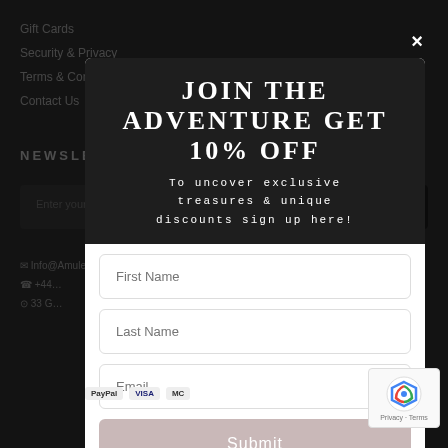Gift Cards
Security & Privacy
Terms & Conditions
Contact Us
NEWSLETTER
JOIN THE ADVENTURE GET 10% OFF
To uncover exclusive treasures & unique discounts sign up here!
First Name
Last Name
Email
Submit